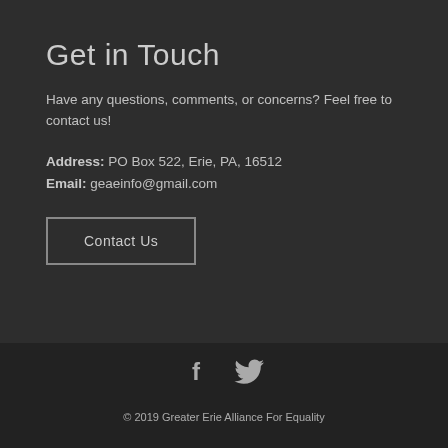Get in Touch
Have any questions, comments, or concerns? Feel free to contact us!
Address: PO Box 522, Erie, PA, 16512
Email: geaeinfo@gmail.com
Contact Us
[Figure (illustration): Facebook and Twitter social media icons in the footer]
© 2019 Greater Erie Alliance For Equality